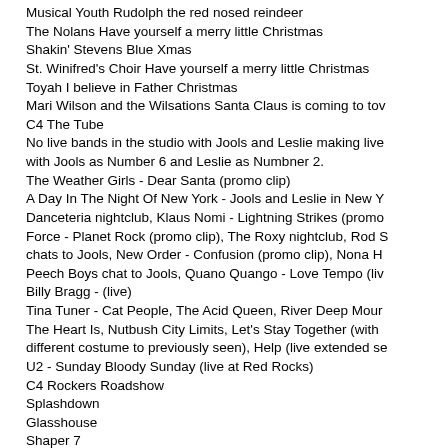Musical Youth Rudolph the red nosed reindeer
The Nolans Have yourself a merry little Christmas
Shakin' Stevens Blue Xmas
St. Winifred's Choir Have yourself a merry little Christmas
Toyah I believe in Father Christmas
Mari Wilson and the Wilsations Santa Claus is coming to tov
C4 The Tube
No live bands in the studio with Jools and Leslie making live with Jools as Number 6 and Leslie as Numbner 2.
The Weather Girls - Dear Santa (promo clip)
A Day In The Night Of New York - Jools and Leslie in New Y Danceteria nightclub, Klaus Nomi - Lightning Strikes (promo Force - Planet Rock (promo clip), The Roxy nightclub, Rod S chats to Jools, New Order - Confusion (promo clip), Nona H Peech Boys chat to Jools, Quano Quango - Love Tempo (liv Billy Bragg - (live)
Tina Tuner - Cat People, The Acid Queen, River Deep Mour The Heart Is, Nutbush City Limits, Let's Stay Together (with different costume to previously seen), Help (live extended se
U2 - Sunday Bloody Sunday (live at Red Rocks)
C4 Rockers Roadshow
Splashdown
Glasshouse
Shaper 7